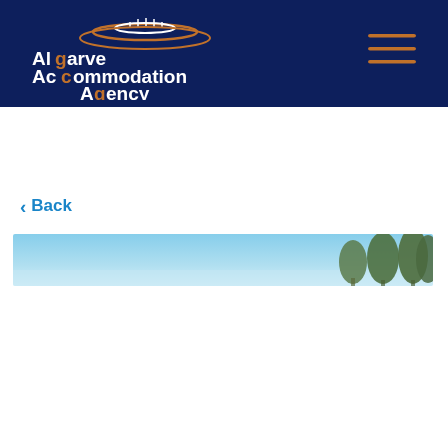[Figure (logo): Algarve Accommodation Agency logo — white text with orange accent letters and a stylized hat/saucer graphic above, on dark navy background]
[Figure (other): Hamburger menu icon — three horizontal orange lines on the right side of the navy header]
< Back
[Figure (photo): Partial strip of a property photo showing blue sky and tree tops at the upper portion of the image]